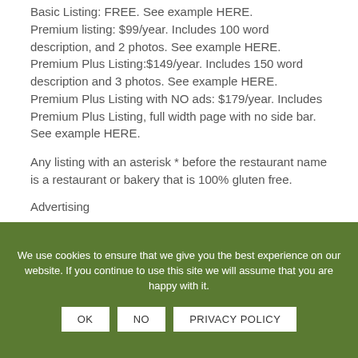Basic Listing: FREE. See example HERE.
Premium listing: $99/year. Includes 100 word description, and 2 photos. See example HERE.
Premium Plus Listing:$149/year. Includes 150 word description and 3 photos. See example HERE.
Premium Plus Listing with NO ads: $179/year. Includes Premium Plus Listing, full width page with no side bar. See example HERE.
Any listing with an asterisk * before the restaurant name is a restaurant or bakery that is 100% gluten free.
Advertising
We use cookies to ensure that we give you the best experience on our website. If you continue to use this site we will assume that you are happy with it.